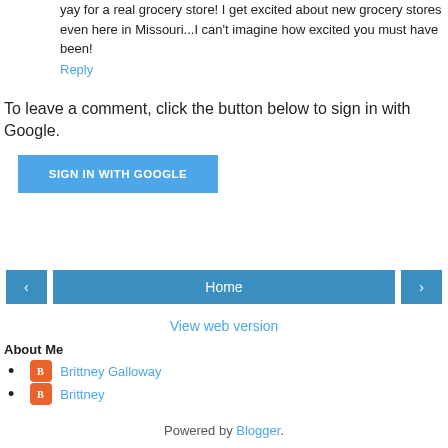yay for a real grocery store! I get excited about new grocery stores even here in Missouri...I can't imagine how excited you must have been!
Reply
To leave a comment, click the button below to sign in with Google.
SIGN IN WITH GOOGLE
Home
View web version
About Me
Brittney Galloway
Brittney
Powered by Blogger.